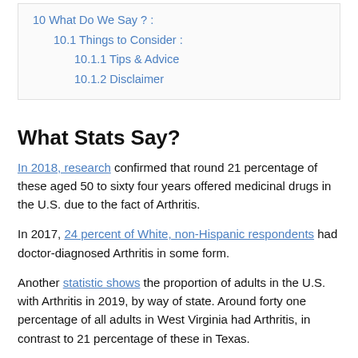10  What Do We Say ? :
10.1  Things to Consider :
10.1.1  Tips & Advice
10.1.2  Disclaimer
What Stats Say?
In 2018, research confirmed that round 21 percentage of these aged 50 to sixty four years offered medicinal drugs in the U.S. due to the fact of Arthritis.
In 2017, 24 percent of White, non-Hispanic respondents had doctor-diagnosed Arthritis in some form.
Another statistic shows the proportion of adults in the U.S. with Arthritis in 2019, by way of state. Around forty one percentage of all adults in West Virginia had Arthritis, in contrast to 21 percentage of these in Texas.